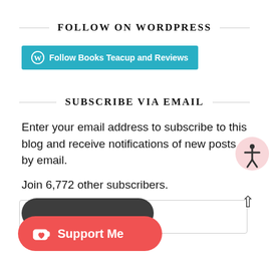FOLLOW ON WORDPRESS
[Figure (other): Teal button with WordPress logo icon and text 'Follow Books Teacup and Reviews']
SUBSCRIBE VIA EMAIL
Enter your email address to subscribe to this blog and receive notifications of new posts by email.
Join 6,772 other subscribers.
[Figure (other): Email Address input field]
[Figure (other): Accessibility icon (person in circle on pink background)]
[Figure (other): Dark pill/button shape in background]
[Figure (other): Red Ko-fi Support Me button with cup icon]